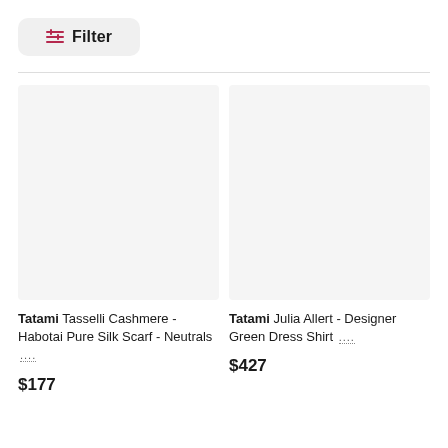Filter
[Figure (photo): Product image placeholder for Tatami Tasselli Cashmere - Habotai Pure Silk Scarf - Neutrals]
Tatami Tasselli Cashmere - Habotai Pure Silk Scarf - Neutrals ...
$177
[Figure (photo): Product image placeholder for Tatami Julia Allert - Designer Green Dress Shirt]
Tatami Julia Allert - Designer Green Dress Shirt ...
$427